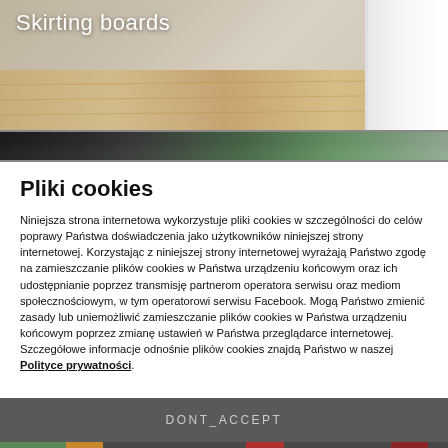[Figure (photo): Top banner image showing skirting boards with wood floor and white board visible, text overlay reads 'Skirting boards']
[Figure (photo): Partial second banner/image strip showing dark and green tones]
Pliki cookies
Niniejsza strona internetowa wykorzystuje pliki cookies w szczególności do celów poprawy Państwa doświadczenia jako użytkowników niniejszej strony internetowej. Korzystając z niniejszej strony internetowej wyrażają Państwo zgodę na zamieszczanie plików cookies w Państwa urządzeniu końcowym oraz ich udostępnianie poprzez transmisję partnerom operatora serwisu oraz mediom społecznościowym, w tym operatorowi serwisu Facebook. Mogą Państwo zmienić zasady lub uniemożliwić zamieszczanie plików cookies w Państwa urządzeniu końcowym poprzez zmianę ustawień w Państwa przeglądarce internetowej. Szczegółowe informacje odnośnie plików cookies znajdą Państwo w naszej Polityce prywatności.
DONT_ACCEPT
200